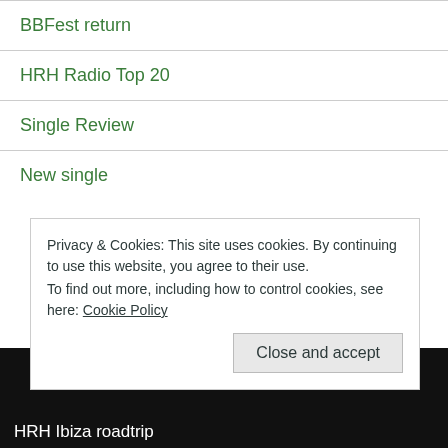BBFest return
HRH Radio Top 20
Single Review
New single
Privacy & Cookies: This site uses cookies. By continuing to use this website, you agree to their use.
To find out more, including how to control cookies, see here: Cookie Policy
HRH Ibiza roadtrip